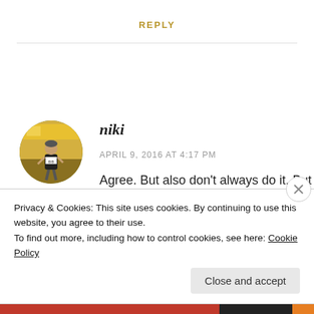REPLY
[Figure (photo): Circular avatar photo of a person running in a race, wearing a black tank top, with a yellow background scene.]
niki
APRIL 9, 2016 AT 4:17 PM
Agree. But also don't always do it. But last night
Privacy & Cookies: This site uses cookies. By continuing to use this website, you agree to their use.
To find out more, including how to control cookies, see here: Cookie Policy
Close and accept